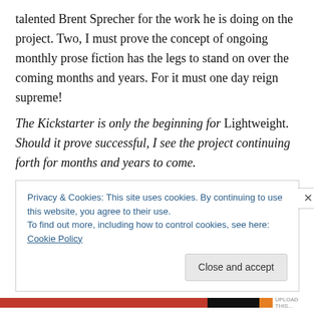talented Brent Sprecher for the work he is doing on the project. Two, I must prove the concept of ongoing monthly prose fiction has the legs to stand on over the coming months and years. For it must one day reign supreme!
The Kickstarter is only the beginning for Lightweight. Should it prove successful, I see the project continuing forth for months and years to come.
What other projects do you have in the works, outside of the Lightweight universe?
Privacy & Cookies: This site uses cookies. By continuing to use this website, you agree to their use.
To find out more, including how to control cookies, see here: Cookie Policy
Close and accept